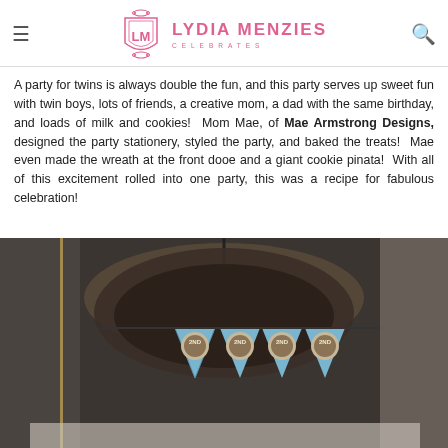LYDIA MENZIES CELEBRATES
A party for twins is always double the fun, and this party serves up sweet fun with twin boys, lots of friends, a creative mom, a dad with the same birthday, and loads of milk and cookies!  Mom Mae, of Mae Armstrong Designs, designed the party stationery, styled the party, and baked the treats!  Mae even made the wreath at the front dooe and a giant cookie pinata!  With all of this excitement rolled into one party, this was a recipe for fabulous celebration!
[Figure (photo): A cookie wreath decoration with blue pennant banner flags reading '2ND' hanging in front of it, displayed on what appears to be a door or wall with decorative elements]